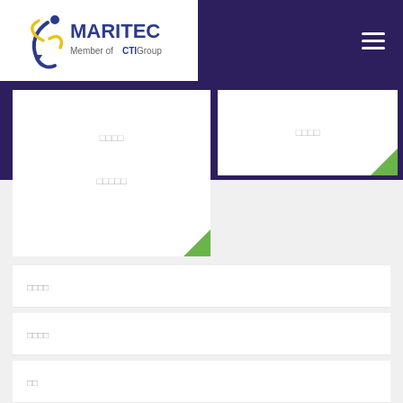[Figure (logo): Maritec logo with swoosh figure and 'MARITEC Member of CTI Group' text]
□□□□
□□□□
□□□□□
□□□□
□□□□
□□
□□
□□